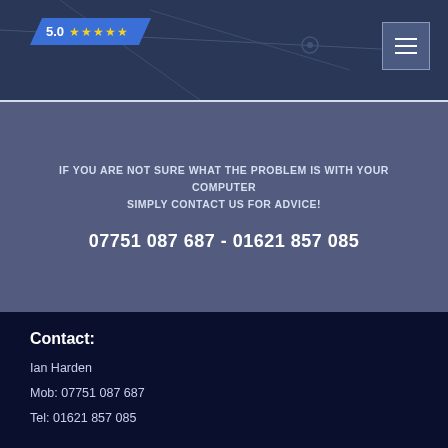[Figure (screenshot): Website header with map background, 5.0 star rating badge, and hamburger menu button]
IF YOU ARE NOT SURE WHAT THE PROBLEM IS WITH YOUR COMPUTER SIMPLY CONTACT US FOR ADVICE!
07751 087 687 - 01621 857 085
Contact:
Ian Harden
Mob: 07751 087 687
Tel: 01621 857 085